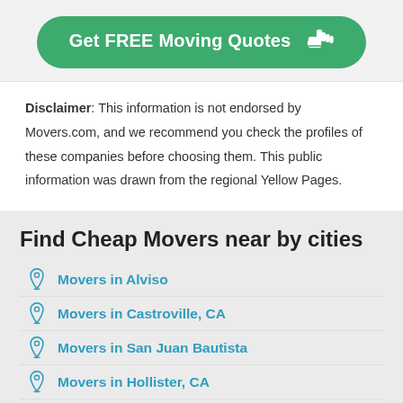[Figure (other): Green CTA button with text 'Get FREE Moving Quotes' and a pointing hand icon]
Disclaimer: This information is not endorsed by Movers.com, and we recommend you check the profiles of these companies before choosing them. This public information was drawn from the regional Yellow Pages.
Find Cheap Movers near by cities
Movers in Alviso
Movers in Castroville, CA
Movers in San Juan Bautista
Movers in Hollister, CA
Movers in Seaside, CA